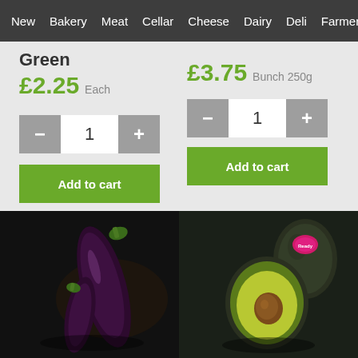New  Bakery  Meat  Cellar  Cheese  Dairy  Deli  Farmer  Ki
Green
£2.25 Each
1
Add to cart
£3.75 Bunch 250g
1
Add to cart
[Figure (photo): Two eggplants/aubergines on a dark background]
[Figure (photo): Two avocados, one halved showing pit, with a label sticker, on a dark background]